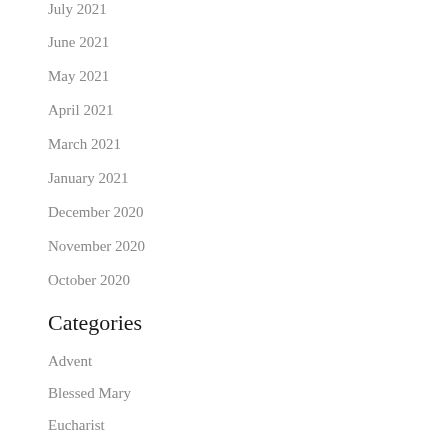July 2021
June 2021
May 2021
April 2021
March 2021
January 2021
December 2020
November 2020
October 2020
Categories
Advent
Blessed Mary
Eucharist
Holiday Greetings